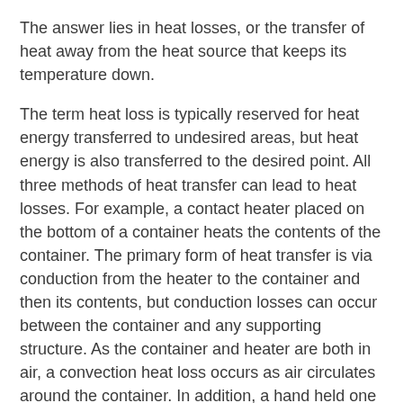The answer lies in heat losses, or the transfer of heat away from the heat source that keeps its temperature down.
The term heat loss is typically reserved for heat energy transferred to undesired areas, but heat energy is also transferred to the desired point. All three methods of heat transfer can lead to heat losses. For example, a contact heater placed on the bottom of a container heats the contents of the container. The primary form of heat transfer is via conduction from the heater to the container and then its contents, but conduction losses can occur between the container and any supporting structure. As the container and heater are both in air, a convection heat loss occurs as air circulates around the container. In addition, a hand held one foot away from the side of the container can feel the radiated heat loss.
Needless to say, the size of these objects also plays a considerable role. For a container the amount of radiated heat energy lost is determined by the outer surface area. Assume the container is a cylinder 6-in. diameter and 6-in. tall. The surface area of the cylinder is determined by